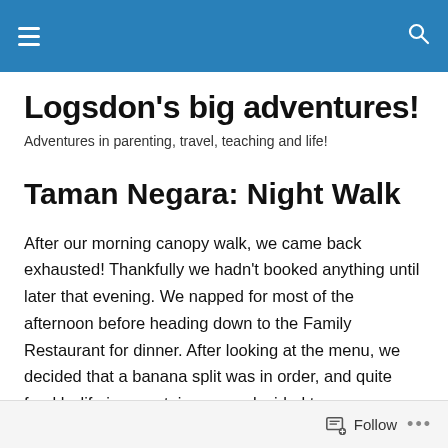[Navigation bar with hamburger menu and search icon]
Logsdon's big adventures!
Adventures in parenting, travel, teaching and life!
Taman Negara: Night Walk
After our morning canopy walk, we came back exhausted! Thankfully we hadn't booked anything until later that evening. We napped for most of the afternoon before heading down to the Family Restaurant for dinner. After looking at the menu, we decided that a banana split was in order, and quite frankly, life is uncertain, so we decided to
Follow